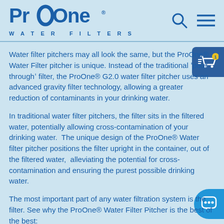ProOne WATER FILTERS
Water filter pitchers may all look the same, but the ProOne® Water Filter pitcher is unique. Instead of the traditional 'pour through' filter, the ProOne® G2.0 water filter pitcher uses an advanced gravity filter technology, allowing a greater reduction of contaminants in your drinking water.
In traditional water filter pitchers, the filter sits in the filtered water, potentially allowing cross-contamination of your drinking water.  The unique design of the ProOne® Water filter pitcher positions the filter upright in the container, out of the filtered water,  alleviating the potential for cross-contamination and ensuring the purest possible drinking water.
The most important part of any water filtration system is the filter. See why the ProOne® Water Filter Pitcher is the best of the best:
BPA free filtration system delivering the purest drinking